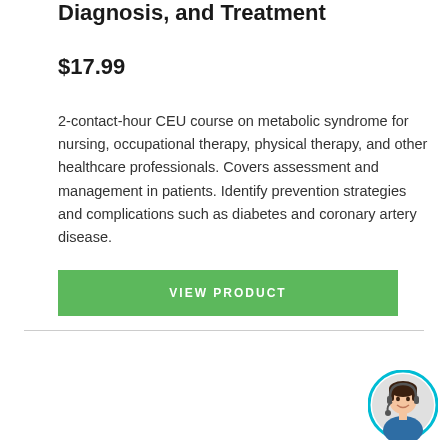Diagnosis, and Treatment
$17.99
2-contact-hour CEU course on metabolic syndrome for nursing, occupational therapy, physical therapy, and other healthcare professionals. Covers assessment and management in patients. Identify prevention strategies and complications such as diabetes and coronary artery disease.
[Figure (other): Green button labeled VIEW PRODUCT]
[Figure (photo): Circular avatar photo of a customer service representative wearing a headset, with a cyan/teal border ring]